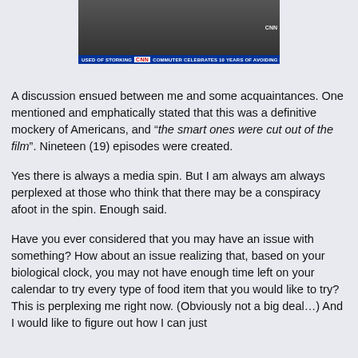[Figure (screenshot): Screenshot of a CNN news broadcast showing a lower-third chyron that reads 'USED OF STORKING CNN COMMUTER CELEBRATES 10 YEARS OF AVOIDING EYE'. The video appears to show people in an indoor setting. CNN logo is visible in the upper right of the video frame.]
A discussion ensued between me and some acquaintances. One mentioned and emphatically stated that this was a definitive mockery of Americans, and "the smart ones were cut out of the film". Nineteen (19) episodes were created.
Yes there is always a media spin. But I am always am always perplexed at those who think that there may be a conspiracy afoot in the spin. Enough said.
Have you ever considered that you may have an issue with something? How about an issue realizing that, based on your biological clock, you may not have enough time left on your calendar to try every type of food item that you would like to try? This is perplexing me right now. (Obviously not a big deal…) And I would like to figure out how I can just